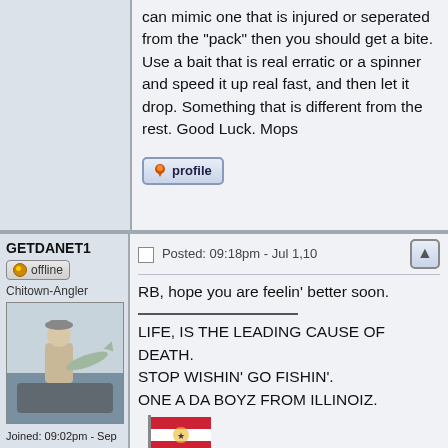can mimic one that is injured or seperated from the "pack" then you should get a bite. Use a bait that is real erratic or a spinner and speed it up real fast, and then let it drop. Something that is different from the rest. Good Luck. Mops
[Figure (screenshot): Profile button with orange pin icon]
GETDANET1
[Figure (photo): User avatar photo of a person on a boat holding a large fish]
Joined: 09:02pm - Sep 8,05
Posts: 4770
Location: Chicago
Posted: 09:18pm - Jul 1,10
RB, hope you are feelin' better soon.
LIFE, IS THE LEADING CAUSE OF DEATH.
STOP WISHIN' GO FISHIN'.
ONE A DA BOYZ FROM ILLINOIZ.
[Figure (illustration): Small flag or banner image]
VIETNAM VETERAN U.S.A.F. 66-67